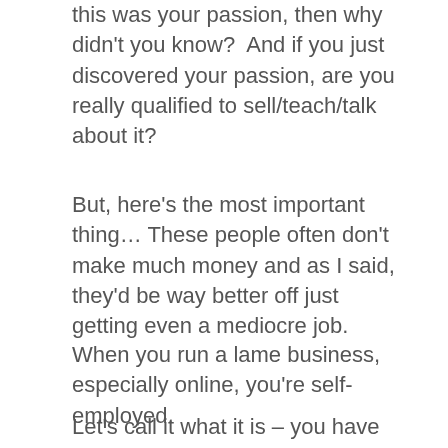this was your passion, then why didn't you know?  And if you just discovered your passion, are you really qualified to sell/teach/talk about it?
But, here's the most important thing… These people often don't make much money and as I said, they'd be way better off just getting even a mediocre job.
When you run a lame business, especially online, you're self-employed.
Let's call it what it is – you have a lowly paid job, working for yourself without a